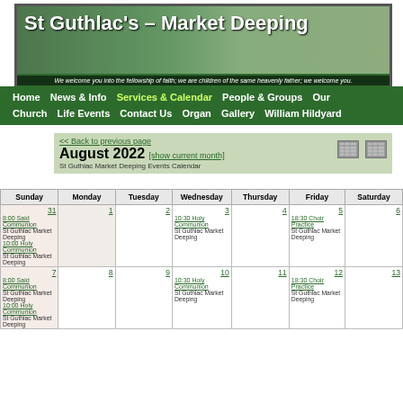[Figure (photo): St Guthlac's Market Deeping church website header banner with church tower and outdoor event photos]
St Guthlac's – Market Deeping
We welcome you into the fellowship of faith; we are children of the same heavenly father; we welcome you.
Home   News & Info   Services & Calendar   People & Groups   Our Church   Life Events   Contact Us   Organ   Gallery   William Hildyard
<< Back to previous page
August 2022 [show current month]
St Guthlac Market Deeping Events Calendar
| Sunday | Monday | Tuesday | Wednesday | Thursday | Friday | Saturday |
| --- | --- | --- | --- | --- | --- | --- |
| 31
8:00 Said Communion St Guthlac Market Deeping
10:00 Holy Communion St Guthlac Market Deeping | 1 | 2 | 3
10:30 Holy Communion St Guthlac Market Deeping | 4 | 5
18:30 Choir Practice St Guthlac Market Deeping | 6 |
| 7
8:00 Said Communion St Guthlac Market Deeping
10:00 Holy Communion St Guthlac Market Deeping | 8 | 9 | 10
10:30 Holy Communion St Guthlac Market Deeping | 11 | 12
18:30 Choir Practice St Guthlac Market Deeping | 13 |